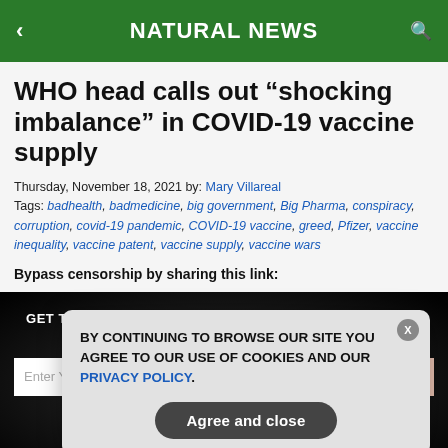NATURAL NEWS
WHO head calls out “shocking imbalance” in COVID-19 vaccine supply
Thursday, November 18, 2021 by: Mary Villareal
Tags: badhealth, badmedicine, big government, Big Pharma, conspiracy, corruption, covid-19 pandemic, COVID-19 vaccine, greed, Pfizer, vaccine inequality, vaccine patent, vaccine supply, vaccine wars
Bypass censorship by sharing this link:
GET THE WORLD’S BEST NATURAL HEALTH NEWSLETTER DELIVERED STRAIGHT TO YOUR INBOX
BY CONTINUING TO BROWSE OUR SITE YOU AGREE TO OUR USE OF COOKIES AND OUR PRIVACY POLICY.